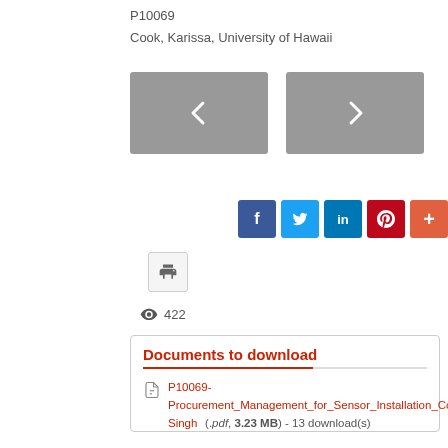P10069
Cook, Karissa, University of Hawaii
[Figure (other): Two grey navigation buttons with left and right arrow icons]
[Figure (other): Social sharing buttons: Facebook (f), Twitter (bird), LinkedIn (in), Pinterest (P), and plus (+) icon]
[Figure (other): Print button icon]
422
Documents to download
P10069-Procurement_Management_for_Sensor_Installation_Cook-Singh (.pdf, 3.23 MB) - 13 download(s)